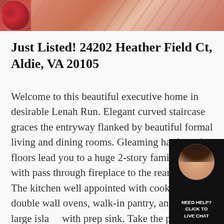[Figure (photo): Partial photo of a deck with flowers and wood railing, cropped at top of page]
Just Listed! 24202 Heather Field Ct, Aldie, VA 20105
Welcome to this beautiful executive home in desirable Lenah Run. Elegant curved staircase graces the entryway flanked by beautiful formal living and dining rooms. Gleaming hardwood floors lead you to a huge 2-story family room with pass through fireplace to the rear solarium. The kitchen well appointed with cooktop, double wall ovens, walk-in pantry, and extra large island with prep sink. Take the party outside to a large deck with multiple seating areas. There~s also a main floor office with French Doors. The lower level boasts an exercise
[Figure (photo): Live chat widget in bottom right corner showing a woman's headshot and text NEED HELP? CLICK TO LIVE CHAT]